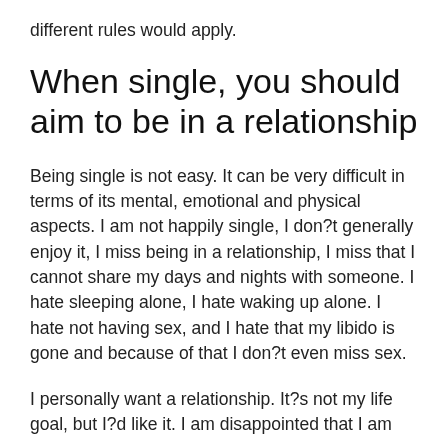different rules would apply.
When single, you should aim to be in a relationship
Being single is not easy. It can be very difficult in terms of its mental, emotional and physical aspects. I am not happily single, I don?t generally enjoy it, I miss being in a relationship, I miss that I cannot share my days and nights with someone. I hate sleeping alone, I hate waking up alone. I hate not having sex, and I hate that my libido is gone and because of that I don?t even miss sex.
I personally want a relationship. It?s not my life goal, but I?d like it. I am disappointed that I am